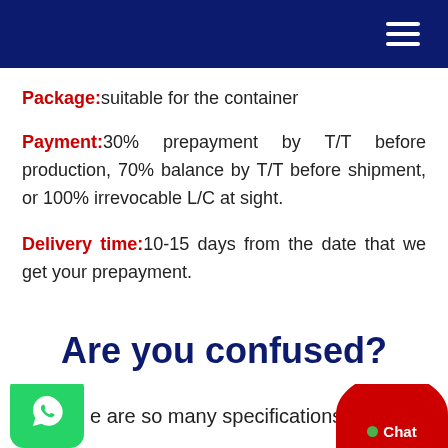Navigation header with hamburger menu
Package: suitable for the container
Payment: 30% prepayment by T/T before production, 70% balance by T/T before shipment, or 100% irrevocable L/C at sight.
Delivery time: 10-15 days from the date that we get your prepayment.
Are you confused?
e are so many specifications for alu